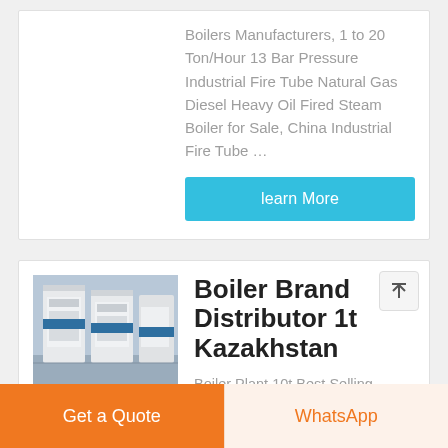Boilers Manufacturers, 1 to 20 Ton/Hour 13 Bar Pressure Industrial Fire Tube Natural Gas Diesel Heavy Oil Fired Steam Boiler for Sale, China Industrial Fire Tube …
learn More
[Figure (photo): Industrial boiler units — large white and blue vertical boiler cylinders in a factory setting]
Boiler Brand Distributor 1t Kazakhstan
Boiler Plant 10t Best Selling Industrial
Get a Quote
WhatsApp